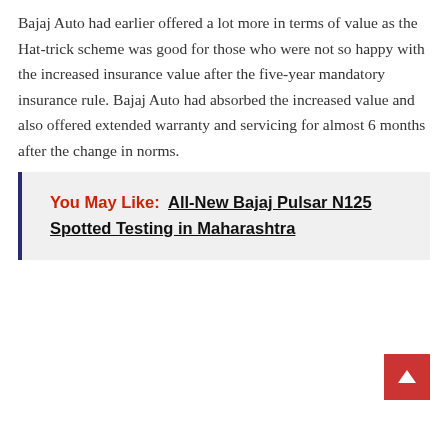Bajaj Auto had earlier offered a lot more in terms of value as the Hat-trick scheme was good for those who were not so happy with the increased insurance value after the five-year mandatory insurance rule. Bajaj Auto had absorbed the increased value and also offered extended warranty and servicing for almost 6 months after the change in norms.
You May Like: All-New Bajaj Pulsar N125 Spotted Testing in Maharashtra